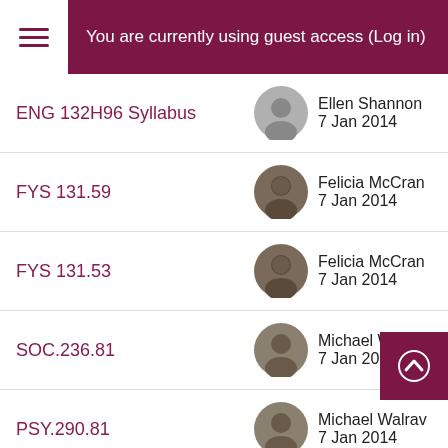You are currently using guest access (Log in)
ENG 132H96 Syllabus — Ellen Shannon, 7 Jan 2014
FYS 131.59 — Felicia McCran, 7 Jan 2014
FYS 131.53 — Felicia McCran, 7 Jan 2014
SOC.236.81 — Michael Walrav, 7 Jan 2014
PSY.290.81 — Michael Walrav, 7 Jan 2014
PSY.251.81 — Michael W, 7 Jan 2014
PSY.222.81 — Michael Walrav, 7 Jan 2014